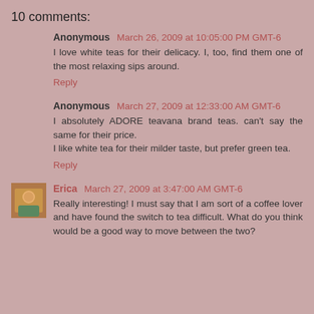10 comments:
Anonymous March 26, 2009 at 10:05:00 PM GMT-6
I love white teas for their delicacy. I, too, find them one of the most relaxing sips around.
Reply
Anonymous March 27, 2009 at 12:33:00 AM GMT-6
I absolutely ADORE teavana brand teas. can't say the same for their price.
I like white tea for their milder taste, but prefer green tea.
Reply
Erica March 27, 2009 at 3:47:00 AM GMT-6
Really interesting! I must say that I am sort of a coffee lover and have found the switch to tea difficult. What do you think would be a good way to move between the two?